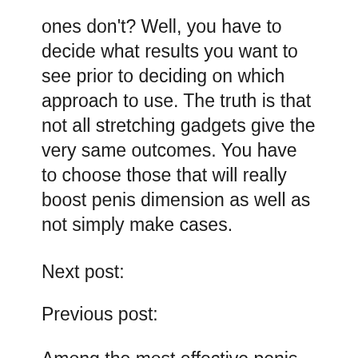ones don't? Well, you have to decide what results you want to see prior to deciding on which approach to use. The truth is that not all stretching gadgets give the very same outcomes. You have to choose those that will really boost penis dimension as well as not simply make cases.
Next post:
Previous post:
Among the most effective penis stretching workouts recognized is the Jelqing exercise. This is done in a bathtub. You require to immerse yourself in a warm bath to make sure that you can relax your body. After this, you require to order your penis at the base